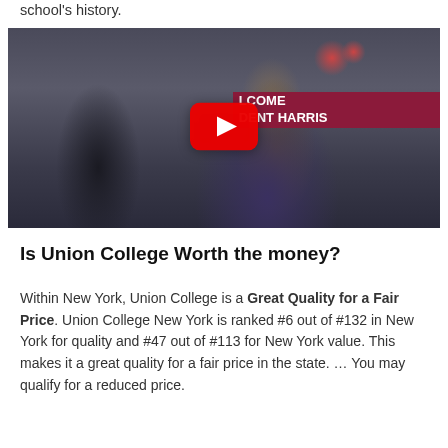school's history.
[Figure (photo): YouTube video embed showing a smiling man in a blazer at a welcome event. A banner in the background reads 'WELCOME PRESIDENT HARRIS'. A YouTube play button overlay is visible in the center.]
Is Union College Worth the money?
Within New York, Union College is a Great Quality for a Fair Price. Union College New York is ranked #6 out of #132 in New York for quality and #47 out of #113 for New York value. This makes it a great quality for a fair price in the state. … You may qualify for a reduced price.